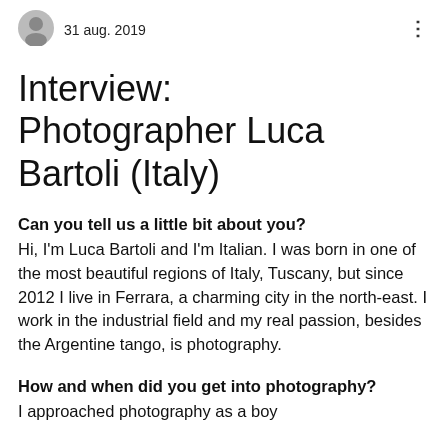31 aug. 2019
Interview: Photographer Luca Bartoli (Italy)
Can you tell us a little bit about you? Hi, I'm Luca Bartoli and I'm Italian. I was born in one of the most beautiful regions of Italy, Tuscany, but since 2012 I live in Ferrara, a charming city in the north-east. I work in the industrial field and my real passion, besides the Argentine tango, is photography.
How and when did you get into photography? I approached photography as a boy